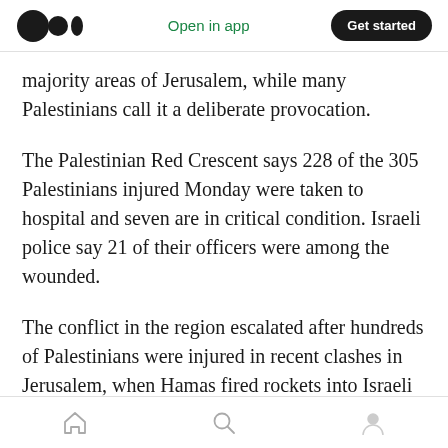Medium logo | Open in app | Get started
majority areas of Jerusalem, while many Palestinians call it a deliberate provocation.
The Palestinian Red Crescent says 228 of the 305 Palestinians injured Monday were taken to hospital and seven are in critical condition. Israeli police say 21 of their officers were among the wounded.
The conflict in the region escalated after hundreds of Palestinians were injured in recent clashes in Jerusalem, when Hamas fired rockets into Israeli territory on Monday and responded
Home | Search | Profile